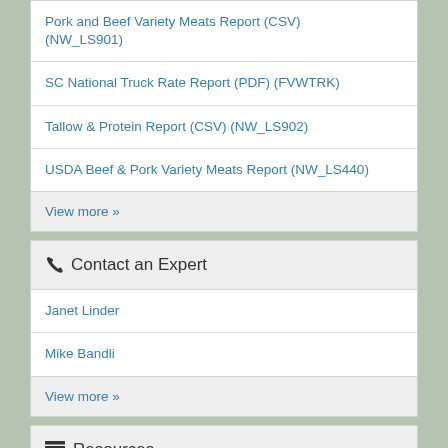Pork and Beef Variety Meats Report (CSV) (NW_LS901)
SC National Truck Rate Report (PDF) (FVWTRK)
Tallow & Protein Report (CSV) (NW_LS902)
USDA Beef & Pork Variety Meats Report (NW_LS440)
View more »
Contact an Expert
Janet Linder
Mike Bandli
View more »
Resources